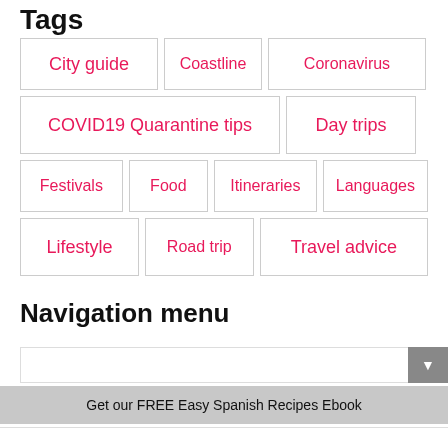Tags
City guide
Coastline
Coronavirus
COVID19 Quarantine tips
Day trips
Festivals
Food
Itineraries
Languages
Lifestyle
Road trip
Travel advice
Navigation menu
Get our FREE Easy Spanish Recipes Ebook